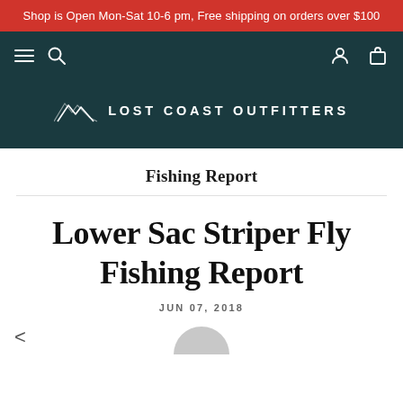Shop is Open Mon-Sat 10-6 pm, Free shipping on orders over $100
[Figure (logo): Lost Coast Outfitters logo with mountain icon and navigation bar with hamburger menu, search, user, and cart icons]
Fishing Report
Lower Sac Striper Fly Fishing Report
JUN 07, 2018